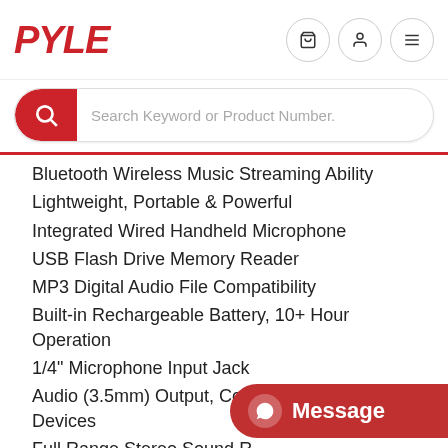PYLE
[Figure (screenshot): Search bar with red magnifying glass icon and placeholder text 'Search Keyword or Product Number.']
Bluetooth Wireless Music Streaming Ability
Lightweight, Portable & Powerful
Integrated Wired Handheld Microphone
USB Flash Drive Memory Reader
MP3 Digital Audio File Compatibility
Built-in Rechargeable Battery, 10+ Hour Operation
1/4" Microphone Input Jack
Audio (3.5mm) Output, Connect External Devices
Full Range Stereo Sound R…
Impressive Bass Response…